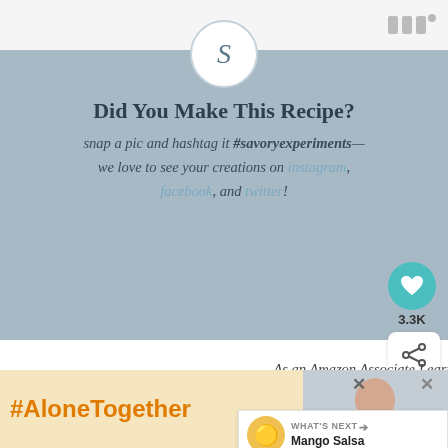[Figure (screenshot): Top navigation bar with grey bars icon and dot]
[Figure (screenshot): Circle avatar with letter S]
Did You Make This Recipe?
snap a pic and hashtag it #savoryexperiments—we love to see your creations on instagram, facebook, and twitter!
[Figure (screenshot): Teal heart button with 3.3K count and share icon button]
As an Amazon Associate I earn from qualifying purchases. For more information, please see my Privacy Policy.
[Figure (screenshot): What's Next promo with Mango Salsa and food thumbnail]
[Figure (screenshot): #AloneTogether advertisement banner with person cooking photo]